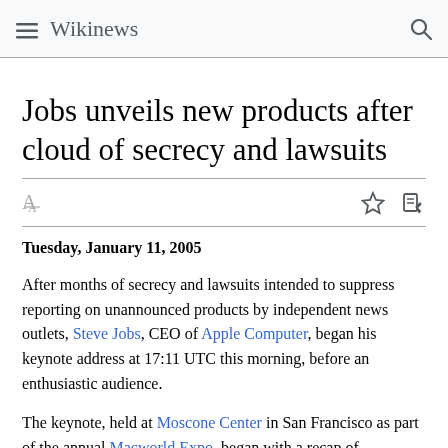Wikinews
Jobs unveils new products after cloud of secrecy and lawsuits
Tuesday, January 11, 2005
After months of secrecy and lawsuits intended to suppress reporting on unannounced products by independent news outlets, Steve Jobs, CEO of Apple Computer, began his keynote address at 17:11 UTC this morning, before an enthusiastic audience.
The keynote, held at Moscone Center in San Francisco as part of the annual Macworld Expo, began with a recap of